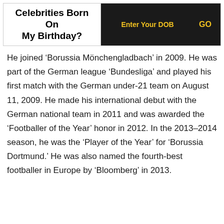Celebrities Born On My Birthday?
He joined ‘Borussia Mönchengladbach’ in 2009. He was part of the German league ‘Bundesliga’ and played his first match with the German under-21 team on August 11, 2009. He made his international debut with the German national team in 2011 and was awarded the ‘Footballer of the Year’ honor in 2012. In the 2013–2014 season, he was the ‘Player of the Year’ for ‘Borussia Dortmund.’ He was also named the fourth-best footballer in Europe by ‘Bloomberg’ in 2013.